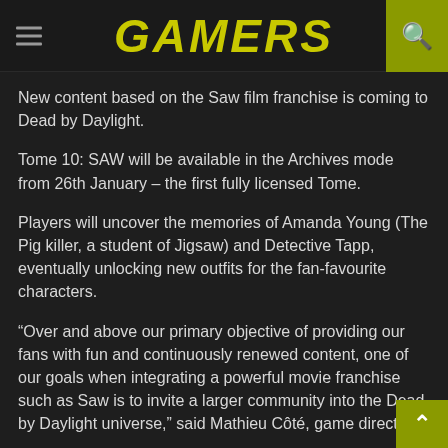GAMERS
New content based on the Saw film franchise is coming to Dead by Daylight.
Tome 10: SAW will be available in the Archives mode from 26th January – the first fully licensed Tome.
Players will uncover the memories of Amanda Young (The Pig killer, a student of Jigsaw) and Detective Tapp, eventually unlocking new outfits for the fan-favourite characters.
“Over and above our primary objective of providing our fans with fun and continuously renewed content, one of our goals when integrating a powerful movie franchise such as Saw is to invite a larger community into the Dead by Daylight universe,” said Mathieu Côté, game director